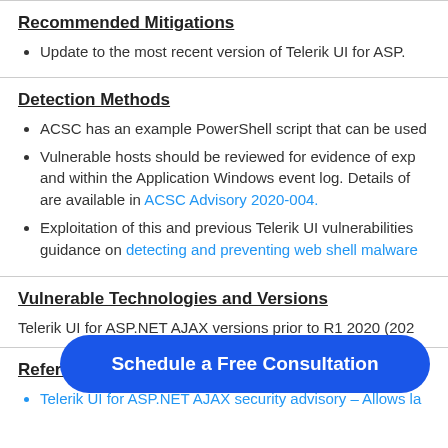Recommended Mitigations
Update to the most recent version of Telerik UI for ASP.
Detection Methods
ACSC has an example PowerShell script that can be used
Vulnerable hosts should be reviewed for evidence of exploitation and within the Application Windows event log. Details of are available in ACSC Advisory 2020-004.
Exploitation of this and previous Telerik UI vulnerabilities guidance on detecting and preventing web shell malware
Vulnerable Technologies and Versions
Telerik UI for ASP.NET AJAX versions prior to R1 2020 (202
References
Telerik UI for ASP.NET AJAX security advisory – Allows la